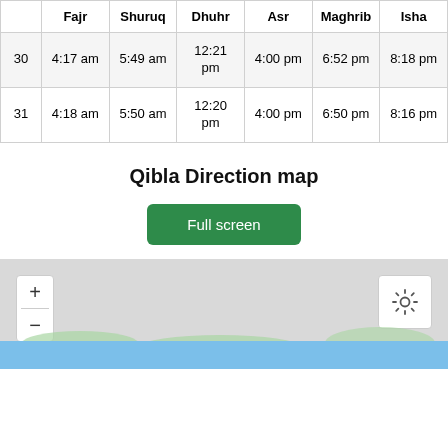|  | Fajr | Shuruq | Dhuhr | Asr | Maghrib | Isha |
| --- | --- | --- | --- | --- | --- | --- |
| 30 | 4:17 am | 5:49 am | 12:21 pm | 4:00 pm | 6:52 pm | 8:18 pm |
| 31 | 4:18 am | 5:50 am | 12:20 pm | 4:00 pm | 6:50 pm | 8:16 pm |
Qibla Direction map
[Figure (screenshot): Full screen button (green rounded rectangle) for Qibla Direction map]
[Figure (map): Map view with zoom controls (+/-) on the left and a settings gear icon on the right. Gray background with blue water strip at the bottom.]